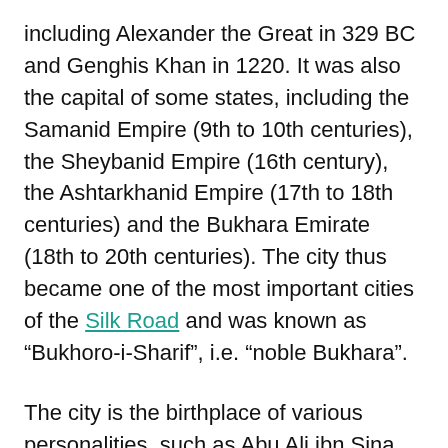including Alexander the Great in 329 BC and Genghis Khan in 1220. It was also the capital of some states, including the Samanid Empire (9th to 10th centuries), the Sheybanid Empire (16th century), the Ashtarkhanid Empire (17th to 18th centuries) and the Bukhara Emirate (18th to 20th centuries). The city thus became one of the most important cities of the Silk Road and was known as “Bukhoro-i-Sharif”, i.e. “noble Bukhara”.
The city is the birthplace of various personalities, such as Abu Ali ibn Sina, the physician and philosopher known in the West as Avicenna, Imam al-Bukhari, the collector of countless hadiths (traditions of the sayings and actions of the